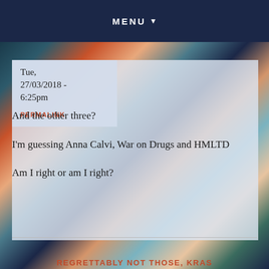MENU
Tue, 27/03/2018 - 6:25pm
PERMALINK
And the other three?
I'm guessing Anna Calvi, War on Drugs and HMLTD
Am I right or am I right?
REGRETTABLY NOT THOSE, KRAS